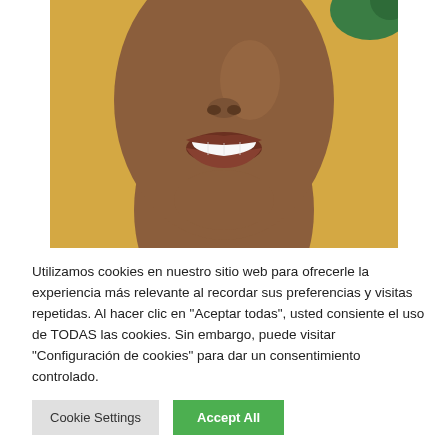[Figure (photo): Close-up photo of a person smiling broadly with bright white teeth, dark skin, against a yellow/golden background. Only the lower face and neck are visible.]
Utilizamos cookies en nuestro sitio web para ofrecerle la experiencia más relevante al recordar sus preferencias y visitas repetidas. Al hacer clic en "Aceptar todas", usted consiente el uso de TODAS las cookies. Sin embargo, puede visitar "Configuración de cookies" para dar un consentimiento controlado.